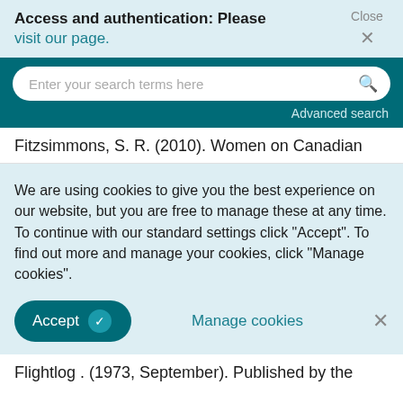Access and authentication: Please visit our page.   Close ×
[Figure (screenshot): Search bar with placeholder text 'Enter your search terms here' and a search icon, on a dark teal background with 'Advanced search' link below]
Fitzsimmons, S. R. (2010). Women on Canadian
We are using cookies to give you the best experience on our website, but you are free to manage these at any time. To continue with our standard settings click "Accept". To find out more and manage your cookies, click "Manage cookies".
Accept   Manage cookies   ×
Flightlog . (1973, September). Published by the